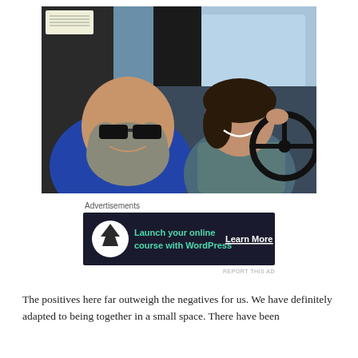[Figure (photo): A selfie photo of two people inside the cab of a vehicle. On the left is a man with a large grey beard wearing sunglasses and a blue t-shirt. On the right is a woman with dark hair smiling, sitting in the driver's seat with her hand on the steering wheel, wearing a grey t-shirt.]
Advertisements
[Figure (other): Advertisement banner with dark background showing a tree icon in a white circle, teal text reading 'Launch your online course with WordPress', and a white underlined 'Learn More' button on the right.]
REPORT THIS AD
The positives here far outweigh the negatives for us. We have definitely adapted to being together in a small space. There have been